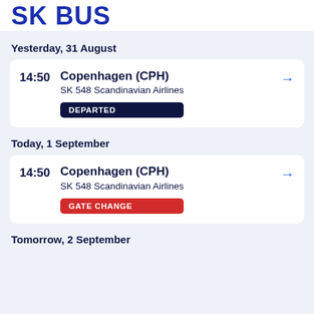SK BUS
Yesterday, 31 August
14:50  Copenhagen (CPH)  SK 548 Scandinavian Airlines  DEPARTED
Today, 1 September
14:50  Copenhagen (CPH)  SK 548 Scandinavian Airlines  GATE CHANGE
Tomorrow, 2 September